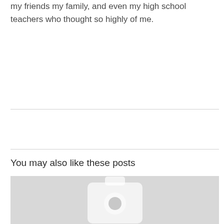my friends my family, and even my high school teachers who thought so highly of me.
You may also like these posts
[Figure (photo): Placeholder image with a camera icon on a light gray background]